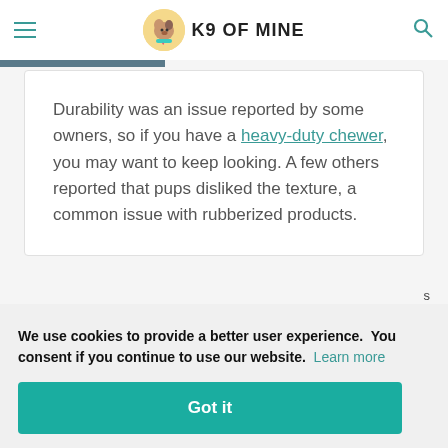K9 OF MINE
Durability was an issue reported by some owners, so if you have a heavy-duty chewer, you may want to keep looking. A few others reported that pups disliked the texture, a common issue with rubberized products.
We use cookies to provide a better user experience. You consent if you continue to use our website. Learn more
Got it